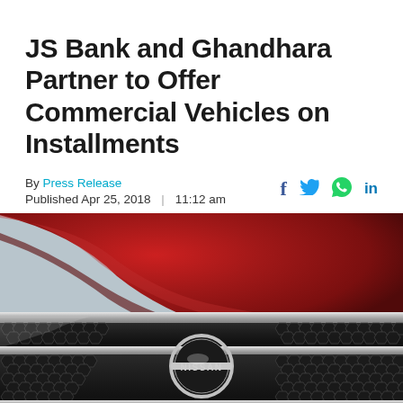JS Bank and Ghandhara Partner to Offer Commercial Vehicles on Installments
By Press Release
Published Apr 25, 2018 | 11:12 am
[Figure (photo): Close-up photo of the front grille and hood of a red Nissan vehicle, showing the hexagonal grille pattern and Nissan logo badge]